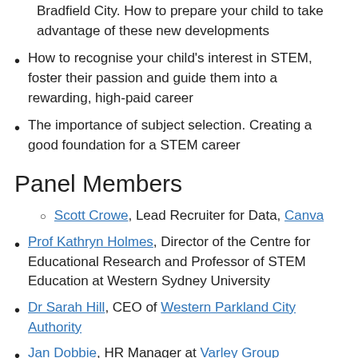Bradfield City. How to prepare your child to take advantage of these new developments
How to recognise your child's interest in STEM, foster their passion and guide them into a rewarding, high-paid career
The importance of subject selection. Creating a good foundation for a STEM career
Panel Members
Scott Crowe, Lead Recruiter for Data, Canva
Prof Kathryn Holmes, Director of the Centre for Educational Research and Professor of STEM Education at Western Sydney University
Dr Sarah Hill, CEO of Western Parkland City Authority
Jan Dobbie, HR Manager at Varley Group